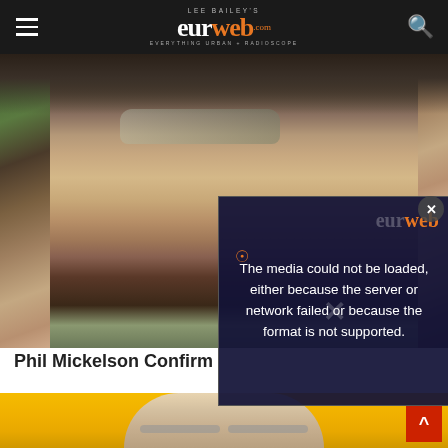Lee Bailey's eurweb.com — Everything Urban + Radioscope
[Figure (photo): Close-up photo of Phil Mickelson wearing sunglasses and a cap, looking to the right with hand near chin, outdoor setting with green background]
Phil Mickelson Confirm...
[Figure (screenshot): Video player error overlay reading: The media could not be loaded, either because the server or network failed or because the format is not supported.]
[Figure (photo): Photo of a blonde woman with small round sunglasses against a yellow/orange background — partial view, cropped at bottom of page]